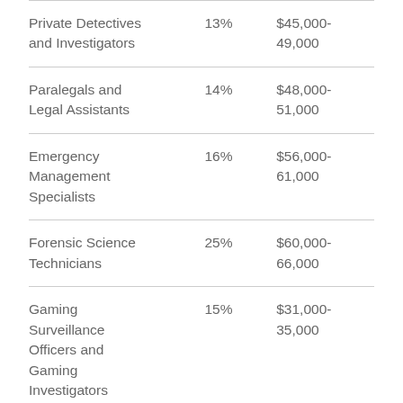| Private Detectives and Investigators | 13% | $45,000-49,000 |
| Paralegals and Legal Assistants | 14% | $48,000-51,000 |
| Emergency Management Specialists | 16% | $56,000-61,000 |
| Forensic Science Technicians | 25% | $60,000-66,000 |
| Gaming Surveillance Officers and Gaming Investigators | 15% | $31,000-35,000 |